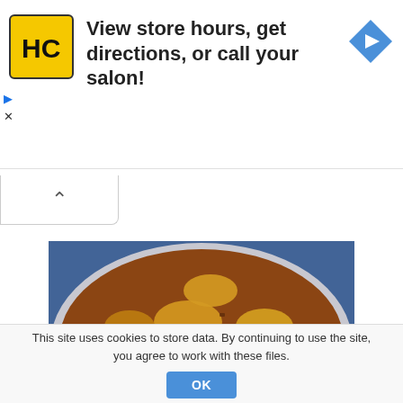[Figure (other): Advertisement banner: HC Salon logo (yellow square with HC text), headline 'View store hours, get directions, or call your salon!', blue diamond directions arrow icon on right. Small play and close icons on left side.]
[Figure (photo): Close-up overhead photo of a large bowl of shell pasta mixed with ground meat (bolognese style) with herbs, in a blue and white bowl on a blue patterned surface.]
This site uses cookies to store data. By continuing to use the site, you agree to work with these files.